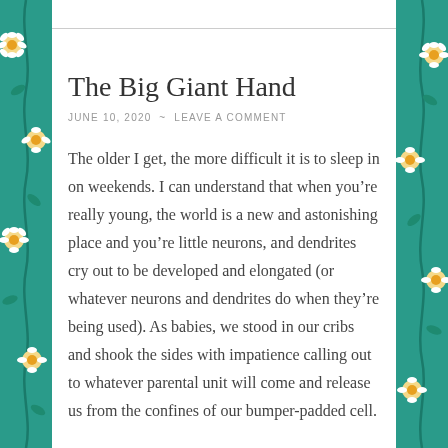The Big Giant Hand
JUNE 10, 2020  ~  LEAVE A COMMENT
The older I get, the more difficult it is to sleep in on weekends. I can understand that when you’re really young, the world is a new and astonishing place and you’re little neurons, and dendrites cry out to be developed and elongated (or whatever neurons and dendrites do when they’re being used). As babies, we stood in our cribs and shook the sides with impatience calling out to whatever parental unit will come and release us from the confines of our bumper-padded cell.